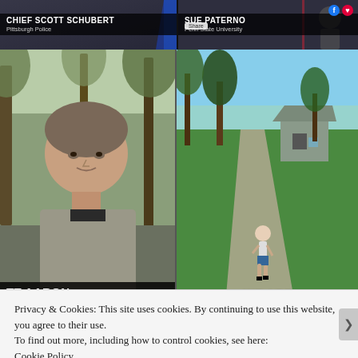[Figure (screenshot): TV news lower-third graphic showing CHIEF SCOTT SCHUBERT, Pittsburgh Police]
[Figure (screenshot): TV news lower-third graphic showing SUE PATERNO, Penn State University, with Facebook like/heart icons]
[Figure (photo): Close-up photo of a man outdoors with trees in background, with lower-third name bar reading TT AARON, al Olympics Pennsylvania]
[Figure (photo): Outdoor photo of a person running on a gravel path with green lawn and houses in background, WE ARE text overlay at bottom]
Privacy & Cookies: This site uses cookies. By continuing to use this website, you agree to their use.
To find out more, including how to control cookies, see here:
Cookie Policy
Close and accept